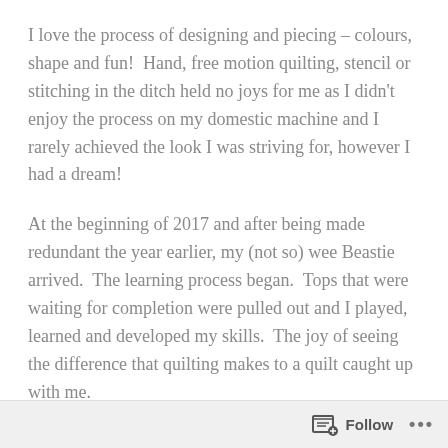I love the process of designing and piecing – colours, shape and fun!  Hand, free motion quilting, stencil or stitching in the ditch held no joys for me as I didn't enjoy the process on my domestic machine and I rarely achieved the look I was striving for, however I had a dream!
At the beginning of 2017 and after being made redundant the year earlier, my (not so) wee Beastie arrived.  The learning process began.  Tops that were waiting for completion were pulled out and I played, learned and developed my skills.  The joy of seeing the difference that quilting makes to a quilt caught up with me.
I live in Dunoon, Argyll – a beautiful part of the world.
Follow ...